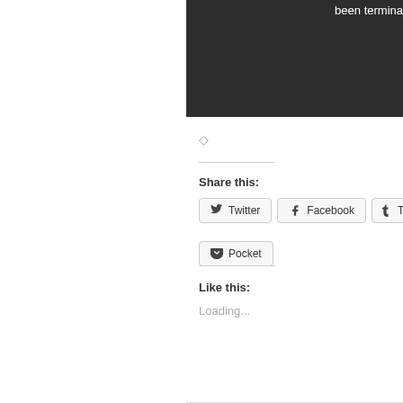[Figure (screenshot): Dark/black screenshot panel with partial white text 'been termina' visible at top right]
◇
Share this:
Twitter
Facebook
Tumblr (partial, cut off)
Pocket
Like this:
Loading...